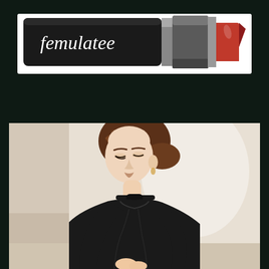[Figure (illustration): A red lipstick with black tube body branded 'Femulatee' in white script font, shown at an angle with the red bullet tip on the right side]
[Figure (photo): A young woman with auburn hair pulled back, wearing a black long-sleeve top with a sweetheart neckline and a black choker necklace, leaning against a light-colored wall, looking down]